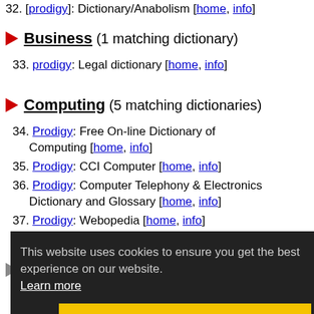32. [prodigy]: Dictionary/Anabolism [home, info]
Business (1 matching dictionary)
33. prodigy: Legal dictionary [home, info]
Computing (5 matching dictionaries)
34. Prodigy: Free On-line Dictionary of Computing [home, info]
35. Prodigy: CCI Computer [home, info]
36. Prodigy: Computer Telephony & Electronics Dictionary and Glossary [home, info]
37. Prodigy: Webopedia [home, info]
38. Prodigy: Encyclopedia [home, info]
Medicine (2 matching dictionaries)
39. Prodigy: online medical dictionary [home,